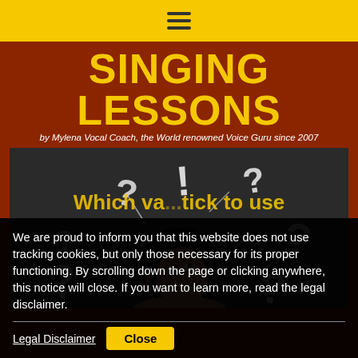Navigation bar with hamburger menu icon
SINGING LESSONS
by Mylena Vocal Coach, the World renowned Voice Guru since 2007
[Figure (photo): Woman looking up at chalk-drawn question marks and exclamation points on a dark chalkboard background]
We are proud to inform you that this website does not use tracking cookies, but only those necessary for its proper functioning. By scrolling down the page or clicking anywhere, this notice will close. If you want to learn more, read the legal disclaimer.
Which va... tick to use
Legal Disclaimer   Close